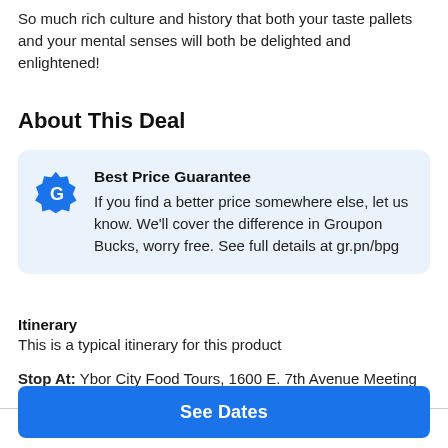So much rich culture and history that both your taste pallets and your mental senses will both be delighted and enlightened!
About This Deal
Best Price Guarantee
If you find a better price somewhere else, let us know. We'll cover the difference in Groupon Bucks, worry free. See full details at gr.pn/bpg
Itinerary
This is a typical itinerary for this product
Stop At: Ybor City Food Tours, 1600 E. 7th Avenue Meeting Place, In Front of Jimmy John's Restaurant, Tampa, FL 33611
See Dates